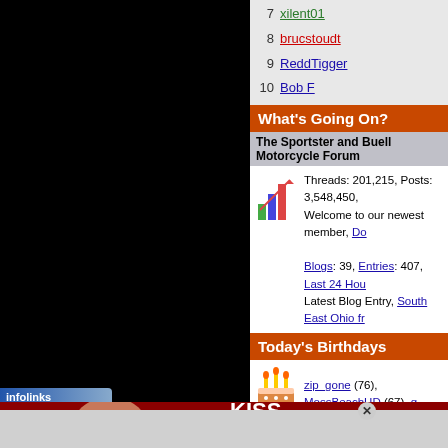7  xilent01
8  brucstoudt
9  ReddTigger
10  Bob F
What's Going On?
The Sportster and Buell Motorcycle Forum
Threads: 201,215, Posts: 3,548,450, Welcome to our newest member, Do... Blogs: 39, Entries: 407, Last 24 Hou... Latest Blog Entry, South East Ohio fr...
Today's Birthdays
zip_gone (76), MossBeachHD (67), g...
Tag Cloud
63 tr-6 1200cc 48 1275 1969 1979 xlh1000 ...92 bas...
[Figure (screenshot): Macy's advertisement banner: KISS BORING LIPS GOODBYE with a woman's face and SHOP NOW button and Macy's logo]